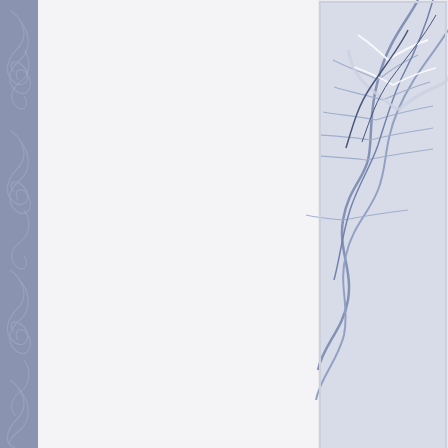[Figure (photo): Close-up of raised print paper with feather/frost patterns in blue-grey and white tones, showing textured embossed detail]
I colored the raised print paper with a makeup color and makes
[Figure (photo): Greeting cards on polka-dot background with snowflake decorations in navy blue, silver and white. Watermark reads: clubscrap.com artist team pam peeling]